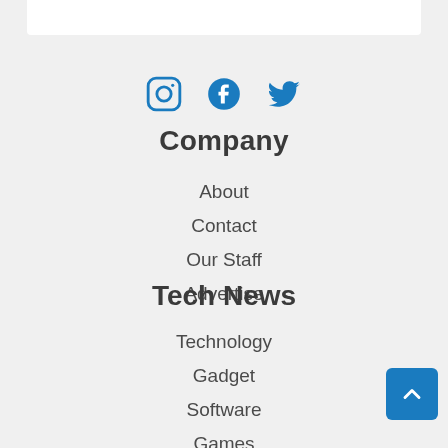[Figure (other): Social media icons: Instagram, Facebook, Twitter in blue]
Company
About
Contact
Our Staff
Advertise
Tech News
Technology
Gadget
Software
Games